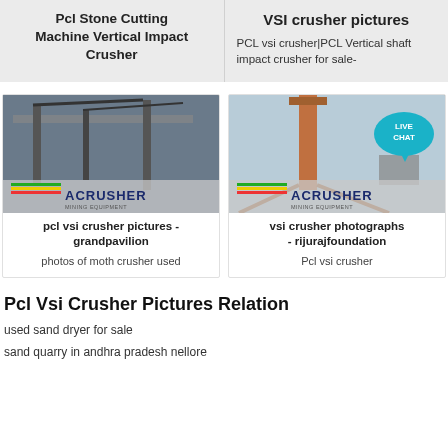Pcl Stone Cutting Machine Vertical Impact Crusher
VSI crusher pictures
PCL vsi crusher|PCL Vertical shaft impact crusher for sale-
[Figure (photo): Aerial photo of PCL VSI crusher machinery at a quarry site with ACRUSHER mining equipment logo]
pcl vsi crusher pictures - grandpavilion
photos of moth crusher used
[Figure (photo): Photo of VSI crusher tall structure at a quarry with ACRUSHER mining equipment logo]
vsi crusher photographs - rijurajfoundation
Pcl vsi crusher
Pcl Vsi Crusher Pictures Relation
used sand dryer for sale
sand quarry in andhra pradesh nellore